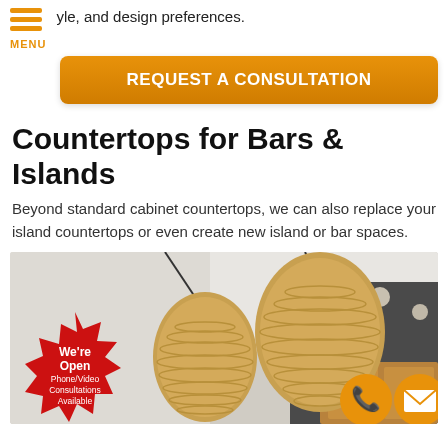yle, and design preferences.
REQUEST A CONSULTATION
Countertops for Bars & Islands
Beyond standard cabinet countertops, we can also replace your island countertops or even create new island or bar spaces.
[Figure (photo): Kitchen interior showing woven pendant lights hanging from ceiling, dark cabinetry in background, with a red starburst badge saying We're Open Phone/Video Consultations Available, and orange phone and email contact icons.]